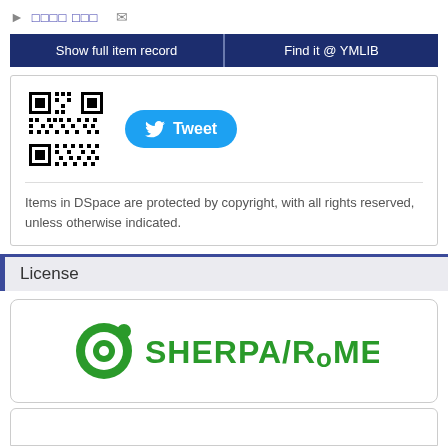► □□□□ □□□  ✉
Show full item record | Find it @ YMLIB
[Figure (other): QR code and Tweet button inside a card. Below: 'Items in DSpace are protected by copyright, with all rights reserved, unless otherwise indicated.']
License
[Figure (logo): SHERPA/RoMEO logo — green circular icon with the text SHERPA/RoMEO in green]
[Figure (other): Partially visible card at bottom of page]